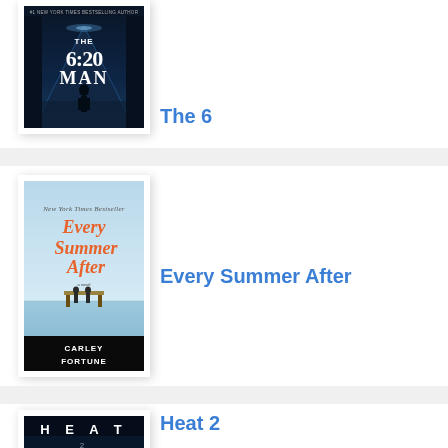[Figure (illustration): Book cover of 'The 6:20 Man' — dark blue atmospheric tunnel/corridor with a silhouette of a person walking, stylized title text]
The 6
[Figure (illustration): Book cover of 'Every Summer After' by Carley Fortune — orange script title text over a lake scene with two people on a dock, described as New York Times Bestseller]
Every Summer After
[Figure (illustration): Book cover of 'Heat 2' — dark background with spaced-out white letters spelling HEAT and the number 2]
Heat 2